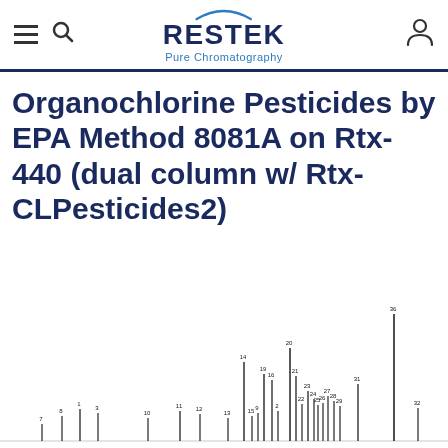RESTEK Pure Chromatography
Organochlorine Pesticides by EPA Method 8081A on Rtx-440 (dual column w/ Rtx-CLPesticides2)
[Figure (continuous-plot): Partial chromatogram showing numbered peaks from an organochlorine pesticide separation, with peaks labeled 7 through 36, varying heights indicating different compound concentrations. Tallest peak labeled 36 at far right of visible area.]